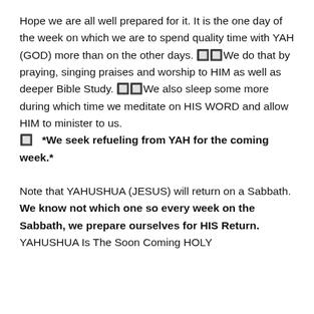Hope we are all well prepared for it. It is the one day of the week on which we are to spend quality time with YAH (GOD) more than on the other days. 🔲🔲We do that by praying, singing praises and worship to HIM as well as deeper Bible Study. 🔲🔲We also sleep some more during which time we meditate on HIS WORD and allow HIM to minister to us. 🔲   *We seek refueling from YAH for the coming week.*
Note that YAHUSHUA (JESUS) will return on a Sabbath. We know not which one so every week on the Sabbath, we prepare ourselves for HIS Return. YAHUSHUA Is The Soon Coming HOLY